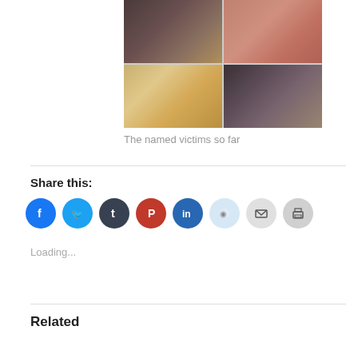[Figure (photo): A 2x2 grid of four portrait photos showing faces of named victims]
The named victims so far
Share this:
[Figure (infographic): Row of social media share icons: Facebook, Twitter, Tumblr, Pinterest, LinkedIn, Reddit, Email, Print]
Loading...
Related